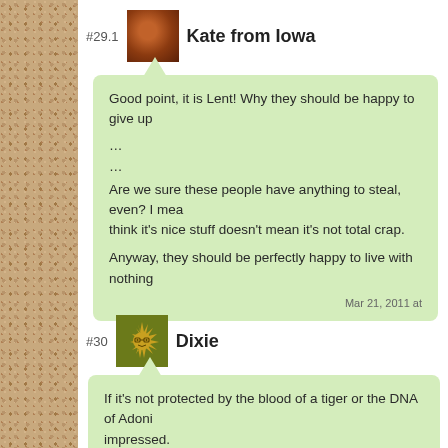#29.1  Kate from Iowa
Good point, it is Lent! Why they should be happy to give up...
...
...
Are we sure these people have anything to steal, even? I mean... just because they think it's nice stuff doesn't mean it's not total crap.
Anyway, they should be perfectly happy to live with nothing...
Mar 21, 2011 at
#30  Dixie
If it's not protected by the blood of a tiger or the DNA of Adoni... impressed.